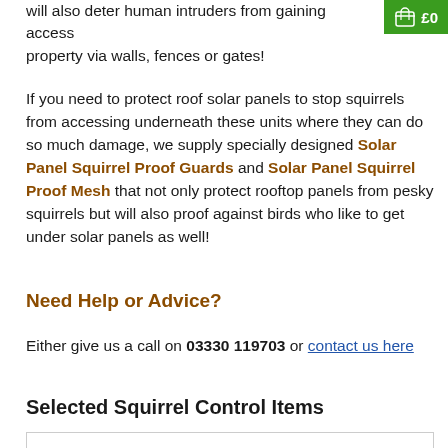will also deter human intruders from gaining access property via walls, fences or gates!
[Figure (other): Green shopping cart button showing £0]
If you need to protect roof solar panels to stop squirrels from accessing underneath these units where they can do so much damage, we supply specially designed Solar Panel Squirrel Proof Guards and Solar Panel Squirrel Proof Mesh that not only protect rooftop panels from pesky squirrels but will also proof against birds who like to get under solar panels as well!
Need Help or Advice?
Either give us a call on 03330 119703 or contact us here
Selected Squirrel Control Items